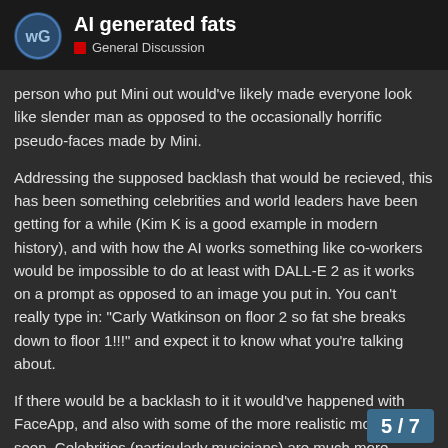AI generated fats — General Discussion
person who put Mini out would've likely made everyone look like slender man as opposed to the occasionally horrific pseudo-faces made by Mini.
Addressing the supposed backlash that would be recieved, this has been something celebrities and world leaders have been getting for a while (Kim K is a good example in modern history), and with how the AI works something like co-workers would be impossible to do at least with DALL-E 2 as it works on a prompt as opposed to an image you put in. You can't really type in: "Carly Watkinson on floor 2 so fat she breaks down to floor 1!!!" and expect it to know what you're talking about.
If there would be a backlash to it it would've happened with FaceApp, and also with some of the more realistic morphs I've seen. Celebrities (particularly musicians) are much more concerned with AI generated music based off of their's than they'd ever be with something like this.
5 / 7